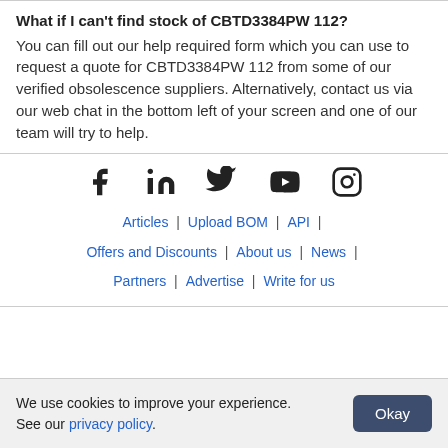What if I can't find stock of CBTD3384PW 112?
You can fill out our help required form which you can use to request a quote for CBTD3384PW 112 from some of our verified obsolescence suppliers. Alternatively, contact us via our web chat in the bottom left of your screen and one of our team will try to help.
[Figure (other): Social media icons: Facebook, LinkedIn, Twitter, YouTube, Instagram]
Articles | Upload BOM | API | Offers and Discounts | About us | News | Partners | Advertise | Write for us
We use cookies to improve your experience. See our privacy policy.